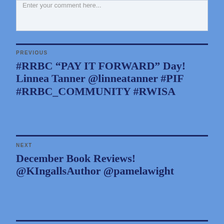Enter your comment here...
PREVIOUS
#RRBC “PAY IT FORWARD” Day! Linnea Tanner @linneatanner #PIF #RRBC_COMMUNITY #RWISA
NEXT
December Book Reviews! @KIngallsAuthor @pamelawight